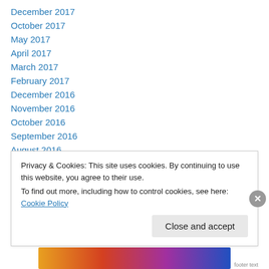December 2017
October 2017
May 2017
April 2017
March 2017
February 2017
December 2016
November 2016
October 2016
September 2016
August 2016
June 2016
May 2016
Privacy & Cookies: This site uses cookies. By continuing to use this website, you agree to their use.
To find out more, including how to control cookies, see here: Cookie Policy
Close and accept